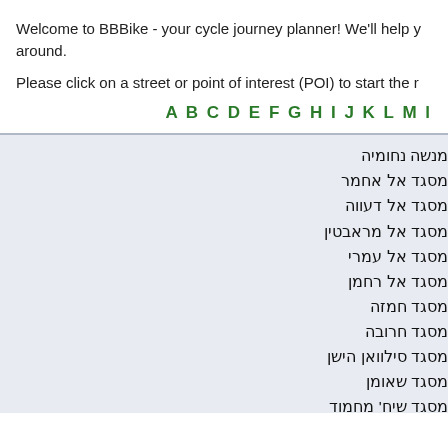Welcome to BBBike - your cycle journey planner! We'll help you get around.
Please click on a street or point of interest (POI) to start the route planner.
A B C D E F G H I J K L M ...
מנשה נחומיה
מסגד אל אחמר
מסגד אל דעווה
מסגד אל מראבטין
מסגד אל עמרי
מסגד אל רחמן
מסגד חמזה
מסגד חרובה
מסגד סילוואן הישן
מסגד שאומן
מסגד שיח' מחמוד
מסגד שיח ג'ראח
מסגד שייח לולו
מסגד שייח' ג'ראח
מסעודה ירקות
מסוף אוטובוסים